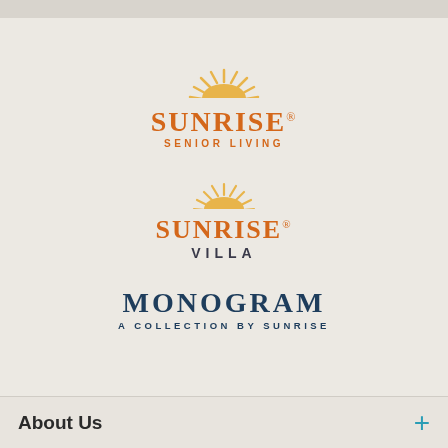[Figure (logo): Sunrise Senior Living logo with orange sun rays semicircle above text SUNRISE SENIOR LIVING in orange]
[Figure (logo): Sunrise Villa logo with orange sun rays semicircle above text SUNRISE VILLA, SUNRISE in orange and VILLA in dark navy]
[Figure (logo): Monogram A Collection by Sunrise logo in dark navy blue text]
About Us